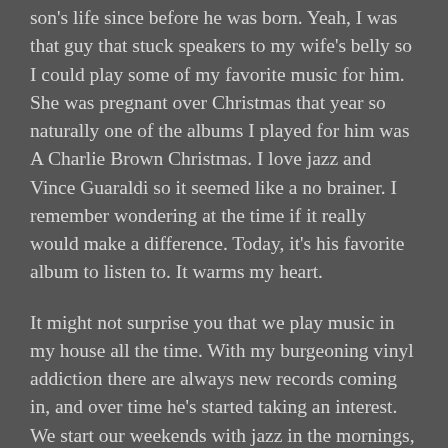son's life since before he was born. Yeah, I was that guy that stuck speakers to my wife's belly so I could play some of my favorite music for him. She was pregnant over Christmas that year so naturally one of the albums I played for him was A Charlie Brown Christmas. I love jazz and Vince Guaraldi so it seemed like a no brainer. I remember wondering at the time if it really would make a difference. Today, it's his favorite album to listen to. It warms my heart.
It might not surprise you that we play music in my house all the time. With my burgeoning vinyl addiction there are always new records coming in, and over time he's started taking an interest. We start our weekends with jazz in the mornings, sometimes classical, and I usually save the rock n roll for when he asks. As you can imagine, not all of it is appropriate for a four year old. But whenever he asks, "What record is